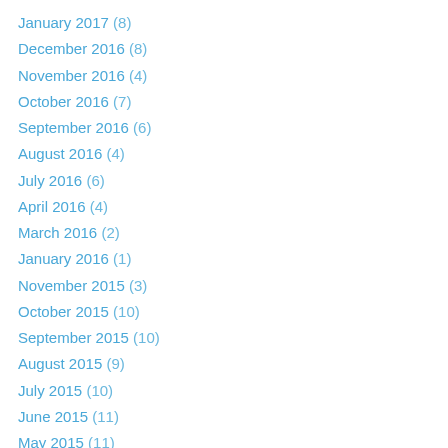January 2017 (8)
December 2016 (8)
November 2016 (4)
October 2016 (7)
September 2016 (6)
August 2016 (4)
July 2016 (6)
April 2016 (4)
March 2016 (2)
January 2016 (1)
November 2015 (3)
October 2015 (10)
September 2015 (10)
August 2015 (9)
July 2015 (10)
June 2015 (11)
May 2015 (11)
April 2015 (10)
March 2015 (12)
February 2015 (11)